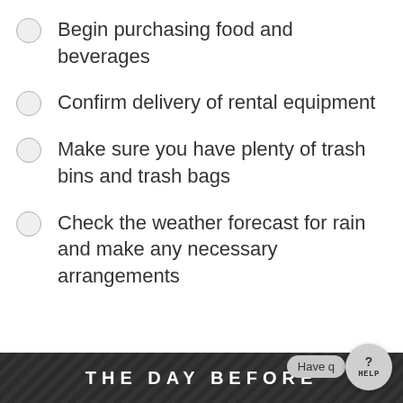Begin purchasing food and beverages
Confirm delivery of rental equipment
Make sure you have plenty of trash bins and trash bags
Check the weather forecast for rain and make any necessary arrangements
THE DAY BEFORE